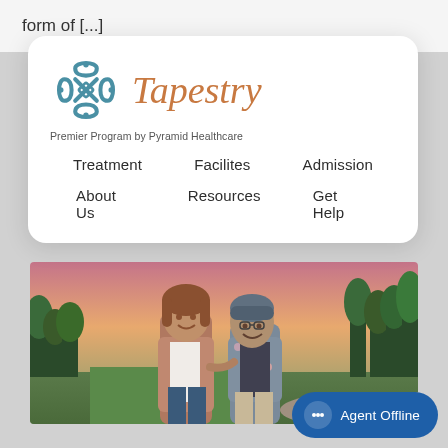form of [...]
[Figure (logo): Tapestry Premier Program by Pyramid Healthcare logo with navigation menu: Treatment, Facilites, Admission, About Us, Resources, Get Help]
[Figure (photo): Two women walking together outdoors on a path, smiling and laughing, surrounded by trees and greenery at dusk]
Agent Offline